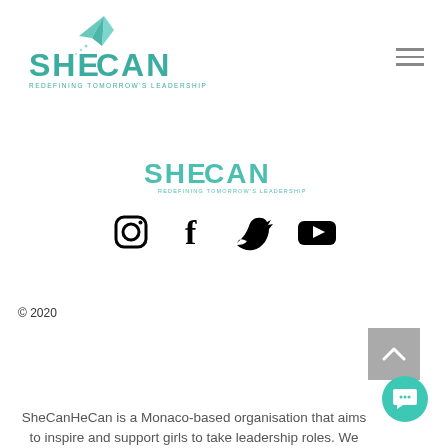[Figure (logo): SHE CAN logo with paper airplane and tagline REDEFINING TOMORROW'S LEADERSHIP in teal/green color, top left header area]
[Figure (logo): SHE CAN logo with tagline REDEFINING TOMORROW'S LEADERSHIP in teal/green, center of page footer section]
[Figure (infographic): Social media icons: Instagram, Facebook, Twitter, YouTube in black]
© 2020
SheCanHeCan is a Monaco-based organisation that aims to inspire and support girls to take leadership roles. We